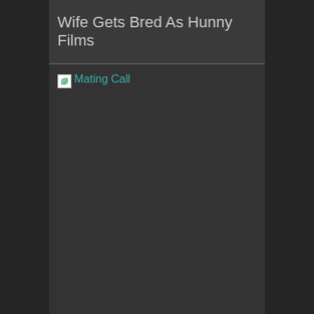Wife Gets Bred As Hunny Films
[Figure (photo): Broken image placeholder with alt text 'Mating Call' shown in teal/green color with broken image icon]